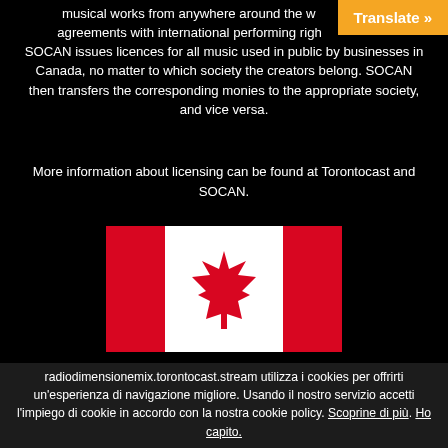musical works from anywhere around the world through agreements with international performing rights societies. SOCAN issues licences for all music used in public by businesses in Canada, no matter to which society the creators belong. SOCAN then transfers the corresponding monies to the appropriate society, and vice versa.
More information about licensing can be found at Torontocast and SOCAN.
[Figure (illustration): Canadian flag with red maple leaf on white center panel, flanked by red panels on each side.]
2021 © All rights reserved. | RADIO DIMENSIONE MIX – A
radiodimensionemix.torontocast.stream utilizza i cookies per offrirti un'esperienza di navigazione migliore. Usando il nostro servizio accetti l'impiego di cookie in accordo con la nostra cookie policy. Scoprine di più. Ho capito.